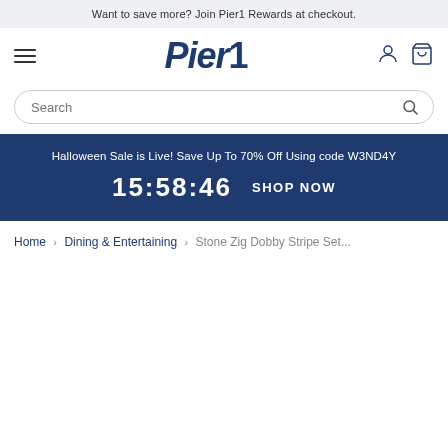Want to save more? Join Pier1 Rewards at checkout.
[Figure (logo): Pier1 logo in bold dark blue italic serif text, hamburger menu icon on left, user and cart icons on right]
Search
Halloween Sale is Live! Save Up To 70% Off Using code W3ND4Y
15:58:46   SHOP NOW
Home > Dining & Entertaining > Stone Zig Dobby Stripe Set...